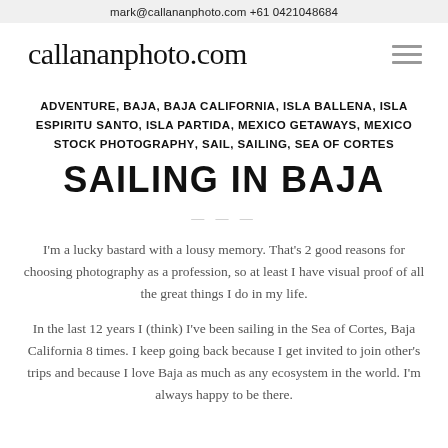mark@callananphoto.com +61 0421048684
callananphoto.com
ADVENTURE, BAJA, BAJA CALIFORNIA, ISLA BALLENA, ISLA ESPIRITU SANTO, ISLA PARTIDA, MEXICO GETAWAYS, MEXICO STOCK PHOTOGRAPHY, SAIL, SAILING, SEA OF CORTES
SAILING IN BAJA
I'm a lucky bastard with a lousy memory. That's 2 good reasons for choosing photography as a profession, so at least I have visual proof of all the great things I do in my life. In the last 12 years I (think) I've been sailing in the Sea of Cortes, Baja California 8 times. I keep going back because I get invited to join other's trips and because I love Baja as much as any ecosystem in the world. I'm always happy to be there.